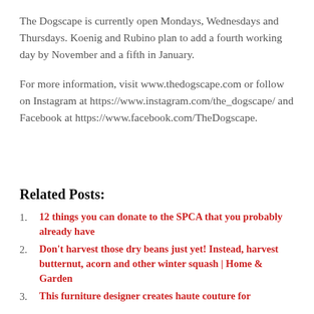The Dogscape is currently open Mondays, Wednesdays and Thursdays. Koenig and Rubino plan to add a fourth working day by November and a fifth in January.
For more information, visit www.thedogscape.com or follow on Instagram at https://www.instagram.com/the_dogscape/ and Facebook at https://www.facebook.com/TheDogscape.
Related Posts:
12 things you can donate to the SPCA that you probably already have
Don't harvest those dry beans just yet! Instead, harvest butternut, acorn and other winter squash | Home & Garden
This furniture designer creates haute couture for